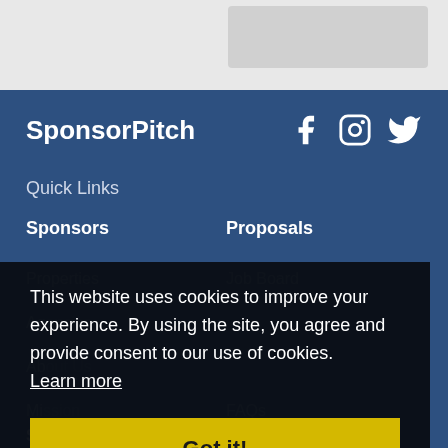[Figure (screenshot): Top gray header area with a light gray placeholder box on the right]
SponsorPitch
[Figure (other): Social media icons: Facebook, Instagram, Twitter]
Quick Links
Sponsors
Proposals
Properties
Job Board
Agencies
About Us
Mission
FAQs
How It Works
Pricing
This website uses cookies to improve your experience. By using the site, you agree and provide consent to our use of cookies.
Learn more
Got it!
Success Stories
Request Demo